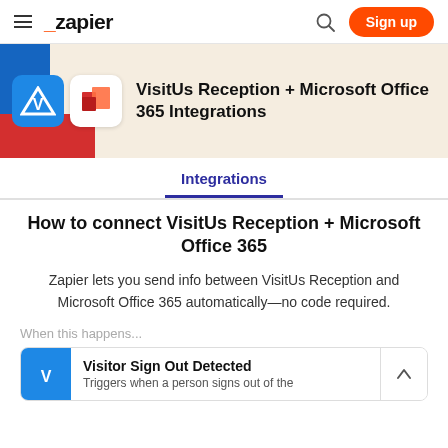[Figure (screenshot): Zapier website navigation bar with hamburger menu icon, Zapier logo, search icon, and orange Sign up button]
VisitUs Reception + Microsoft Office 365 Integrations
Integrations
How to connect VisitUs Reception + Microsoft Office 365
Zapier lets you send info between VisitUs Reception and Microsoft Office 365 automatically—no code required.
When this happens...
Visitor Sign Out Detected
Triggers when a person signs out of the